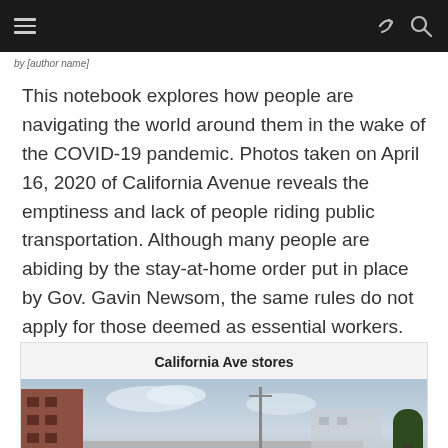[Navigation bar with hamburger menu, share icon, and search icon]
This notebook explores how people are navigating the world around them in the wake of the COVID-19 pandemic. Photos taken on April 16, 2020 of California Avenue reveals the emptiness and lack of people riding public transportation. Although many people are abiding by the stay-at-home order put in place by Gov. Gavin Newsom, the same rules do not apply for those deemed as essential workers.
California Ave stores
[Figure (photo): A street-level photo of California Avenue showing storefronts and an empty street. A brick building is visible on the left, a utility pole in the middle distance, and trees on the right, under a partly cloudy sky.]